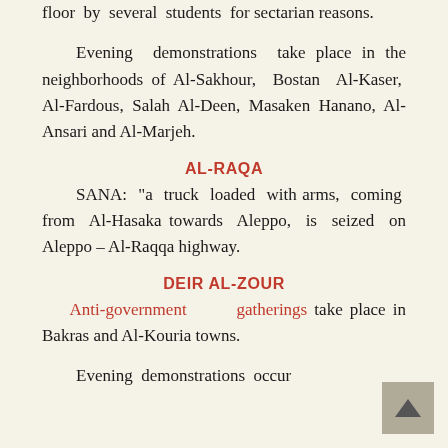after throwing him from the fifth floor by several students for sectarian reasons.
Evening demonstrations take place in the neighborhoods of Al-Sakhour, Bostan Al-Kaser, Al-Fardous, Salah Al-Deen, Masaken Hanano, Al-Ansari and Al-Marjeh.
AL-RAQA
SANA: “a truck loaded with arms, coming from Al-Hasaka towards Aleppo, is seized on Aleppo – Al-Raqqa highway.
DEIR AL-ZOUR
Anti-government gatherings take place in Bakras and Al-Kouria towns.
Evening demonstrations occur